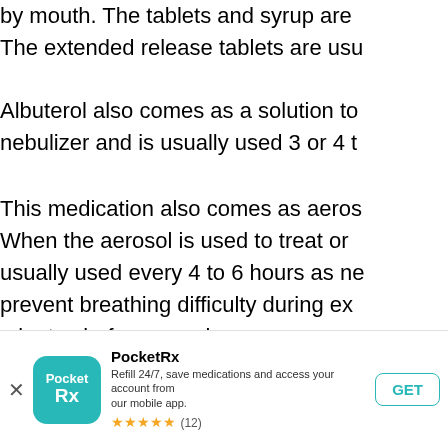by mouth. The tablets and syrup are... The extended release tablets are usu...
Albuterol also comes as a solution to... nebulizer and is usually used 3 or 4 t...
This medication also comes as aeros... When the aerosol is used to treat or... usually used every 4 to 6 hours as ne... prevent breathing difficulty during ex... minutes before exercise.
Common side effects include fast he...
Ventolin Rotacaps Cautio...
[Figure (other): PocketRx app banner with teal app icon showing 'PocketRx' text, app name 'PocketRx', description 'Refill 24/7, save medications and access your account from our mobile app.', 5 star rating (12 reviews), and GET button]